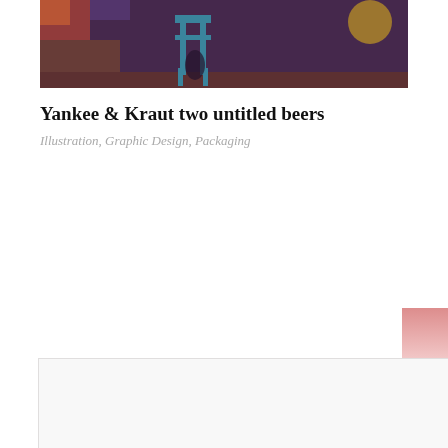[Figure (illustration): Top banner image showing a colorful illustrated scene with a teal/blue chair-like structure and warm purple/maroon background tones with a yellow circular shape at right]
Yankee & Kraut two untitled beers
Illustration, Graphic Design, Packaging
[Figure (illustration): Line drawing illustration of a running horse with spots/blob patterns on its body, rendered in black outlines on white, with a rectangular shape beneath suggesting a beer label or package element]